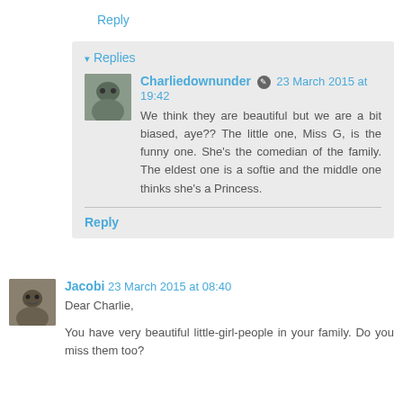Reply
▾ Replies
Charliedownunder 🔘 23 March 2015 at 19:42
We think they are beautiful but we are a bit biased, aye?? The little one, Miss G, is the funny one. She's the comedian of the family. The eldest one is a softie and the middle one thinks she's a Princess.
Reply
Jacobi 23 March 2015 at 08:40
Dear Charlie,
You have very beautiful little-girl-people in your family. Do you miss them too?